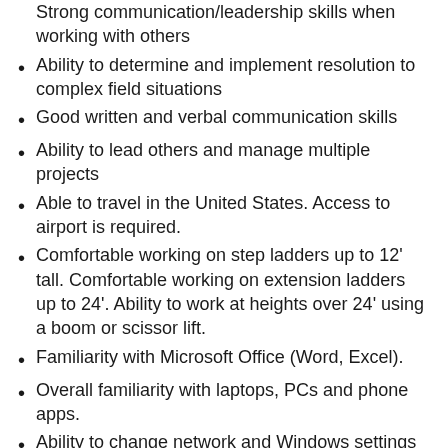Strong communication/leadership skills when working with others
Ability to determine and implement resolution to complex field situations
Good written and verbal communication skills
Ability to lead others and manage multiple projects
Able to travel in the United States. Access to airport is required.
Comfortable working on step ladders up to 12' tall. Comfortable working on extension ladders up to 24'. Ability to work at heights over 24' using a boom or scissor lift.
Familiarity with Microsoft Office (Word, Excel).
Overall familiarity with laptops, PCs and phone apps.
Ability to change network and Windows settings on a PC and install and set up PC software.